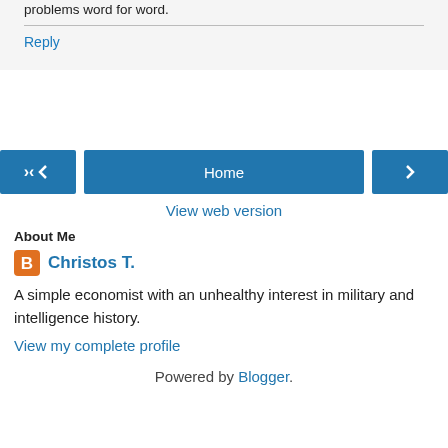problems word for word.
Reply
Home
View web version
About Me
Christos T.
A simple economist with an unhealthy interest in military and intelligence history.
View my complete profile
Powered by Blogger.